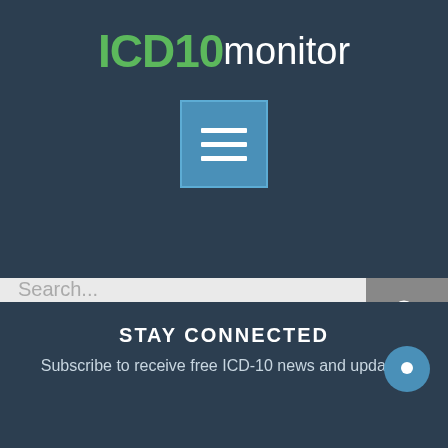[Figure (logo): ICD10monitor logo with green ICD10 text and white monitor text on dark navy background, with a blue hamburger menu button below]
[Figure (screenshot): Search bar with placeholder text 'Search...' and a grey search icon button on the right]
[Figure (infographic): Three green circular social media icons: LinkedIn, Twitter, Facebook]
STAY CONNECTED
Subscribe to receive free ICD-10 news and updates